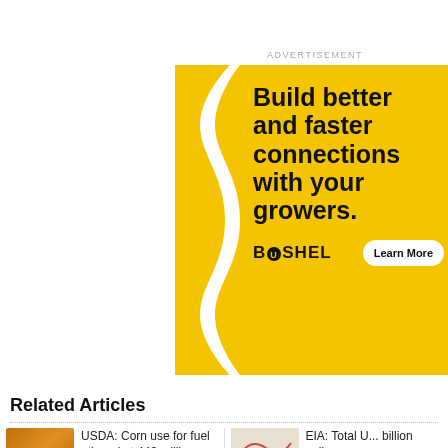ADVERTISEMENT
[Figure (illustration): Bushel advertisement banner with yellow background and curly brace graphic. Headline: Build better and faster connections with your growers. Logo: BUSHEL. Button: Learn More]
Related Articles
USDA: Corn use for fuel ethanol at 442 million bushels in June
EIA: Total U... billion gallon...